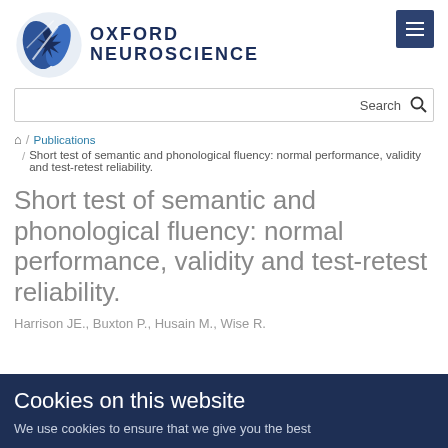[Figure (logo): Oxford Neuroscience logo with circular brain/neuron icon and text 'OXFORD NEUROSCIENCE']
Search
/ Publications / Short test of semantic and phonological fluency: normal performance, validity and test-retest reliability.
Short test of semantic and phonological fluency: normal performance, validity and test-retest reliability.
Harrison JE., Buxton P., Husain M., Wise R.
Cookies on this website
We use cookies to ensure that we give you the best